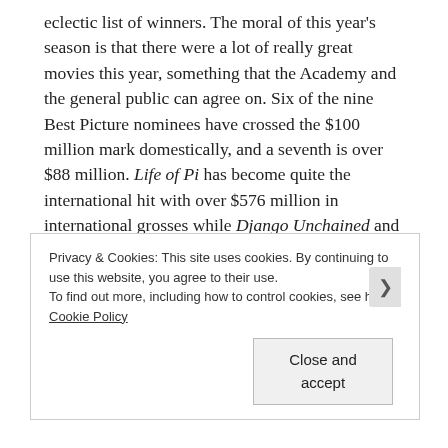eclectic list of winners. The moral of this year's season is that there were a lot of really great movies this year, something that the Academy and the general public can agree on. Six of the nine Best Picture nominees have crossed the $100 million mark domestically, and a seventh is over $88 million. Life of Pi has become quite the international hit with over $576 million in international grosses while Django Unchained and Les Miserables have have each clocked in over $350 million worldwide.

Back in 2009 when the the Best Picture field was first expanded beyond five films, there were definitely five films being seriously considered and five also-rans, just in the mix
Privacy & Cookies: This site uses cookies. By continuing to use this website, you agree to their use.
To find out more, including how to control cookies, see here: Cookie Policy
Close and accept